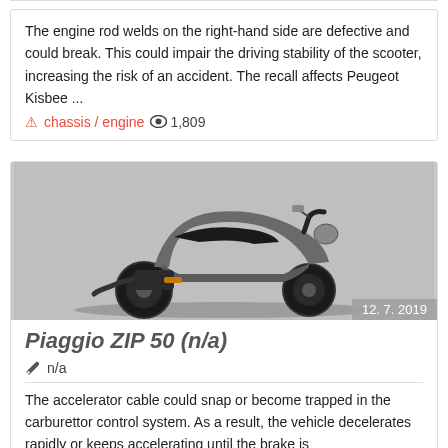The engine rod welds on the right-hand side are defective and could break. This could impair the driving stability of the scooter, increasing the risk of an accident. The recall affects Peugeot Kisbee ...
⚠ chassis / engine 👁 1,809
[Figure (photo): A grey Piaggio ZIP 50 scooter photographed from the left rear three-quarter angle on a grey background. Date badge shows 12. 7. 2019.]
Piaggio ZIP 50 (n/a)
🔧 n/a
The accelerator cable could snap or become trapped in the carburettor control system. As a result, the vehicle decelerates rapidly or keeps accelerating until the brake is